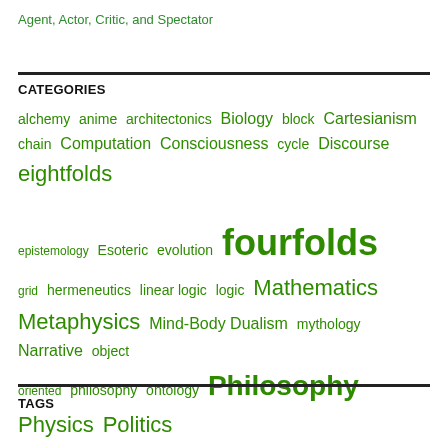Agent, Actor, Critic, and Spectator
CATEGORIES
alchemy anime architectonics Biology block Cartesianism chain Computation Consciousness cycle Discourse eightfolds epistemology Esoteric evolution fourfolds grid hermeneutics linear logic logic Mathematics Metaphysics Mind-Body Dualism mythology Narrative object oriented philosophy ontology Philosophy Physics Politics Psychology religion Science semiotics sixfolds sixteenfolds sociology Space and Time spacetime technology twelvefolds
TAGS